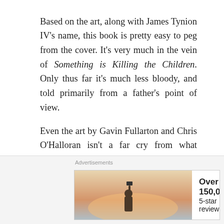Based on the art, along with James Tynion IV's name, this book is pretty easy to peg from the cover. It's very much in the vein of Something is Killing the Children. Only thus far it's much less bloody, and told primarily from a father's point of view.
Even the art by Gavin Fullarton and Chris O'Halloran isn't a far cry from what Werther Dell'Edera and Miquel Muerto have given us on Children. It's got its own identity. But again, it's very much in the same vein.
Email Rob at primaryignition@yahoo.com, or check us out on Twitter.
[Figure (other): Advertisement banner: Day One Journal app ad showing a person photographing a sunset, with text 'Over 150,000 5-star reviews' and the Day One Journal logo]